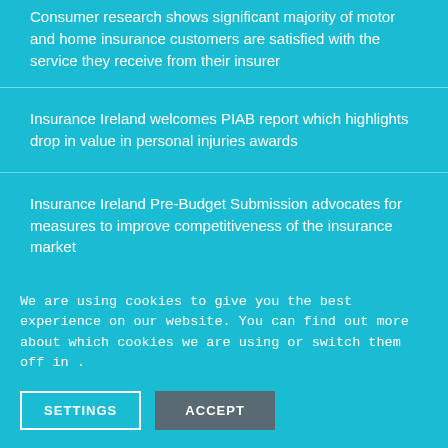Consumer research shows significant majority of motor and home insurance customers are satisfied with the service they receive from their insurer
Insurance Ireland welcomes PIAB report which highlights drop in value in personal injuries awards
Insurance Ireland Pre-Budget Submission advocates for measures to improve competitiveness of the insurance market
Insurance Ireland welcomes the European Commission's decision to conclude its investigation into InsuranceLink
We are using cookies to give you the best experience on our website. You can find out more about which cookies we are using or switch them off in .